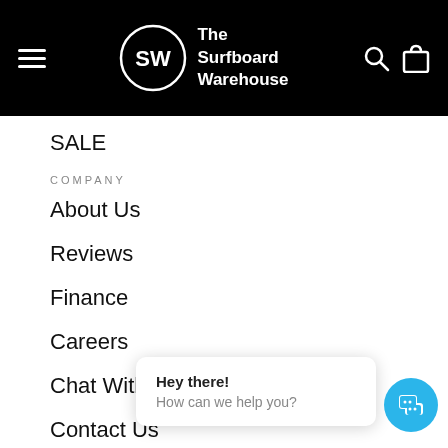The Surfboard Warehouse — site header with hamburger menu, logo, search and bag icons
SALE
COMPANY
About Us
Reviews
Finance
Careers
Chat With Us
Contact Us
Store Locator
Seller Partners Portal
BOARD TALK
SHAR (partial, cut off)
Hey there! How can we help you?